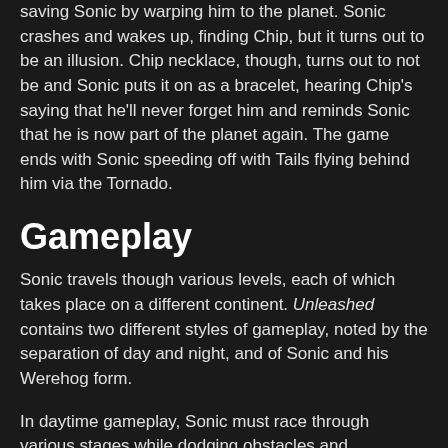saving Sonic by warping him to the planet. Sonic crashes and wakes up, finding Chip, but it turns out to be an illusion. Chip necklace, though, turns out to not be and Sonic puts it on as a bracelet, hearing Chip's saying that he'll never forget him and reminds Sonic that he is now part of the planet again. The game ends with Sonic speeding off with Tails flying behind him via the Tornado.
Gameplay
Sonic travels though various levels, each of which takes place on a different continent. Unleashed contains two different styles of gameplay, noted by the separation of day and night, and of Sonic and his Werehog form.
In daytime gameplay, Sonic must race through various stages while dodging obstacles and destroying enemy robots, all while trying to get through the level in the most aesthetically pleasing way possible. Some levels contain branching pathways and semi-hidden areas